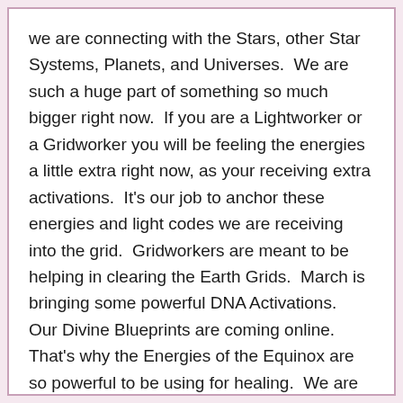we are connecting with the Stars, other Star Systems, Planets, and Universes.  We are such a huge part of something so much bigger right now.  If you are a Lightworker or a Gridworker you will be feeling the energies a little extra right now, as your receiving extra activations.  It's our job to anchor these energies and light codes we are receiving into the grid.  Gridworkers are meant to be helping in clearing the Earth Grids.  March is bringing some powerful DNA Activations.  Our Divine Blueprints are coming online.  That's why the Energies of the Equinox are so powerful to be using for healing.  We are experiencing a collective awakening.  As new dimensions are opening up you may be dreaming more, or traveling more in your sleep.  Your soul is resolving things, and learning on many levels.  You may be feeling extra serious right now, a desire to